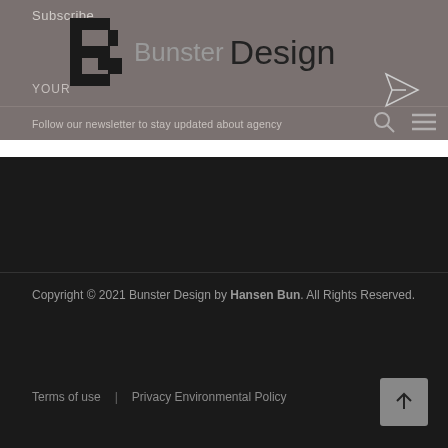Subscribe
[Figure (logo): Bunster Design logo with stylized B lettermark and text 'Bunster Design']
[Figure (illustration): Paper airplane send icon]
YOUR
Follow our newsletter to stay updated about agency
Copyright © 2021 Bunster Design by Hansen Bun. All Rights Reserved.
Terms of use | Privacy Environmental Policy